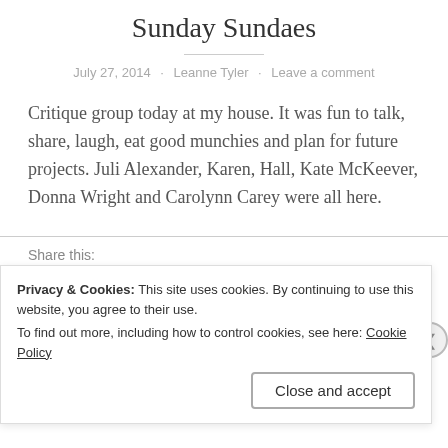Sunday Sundaes
July 27, 2014 · Leanne Tyler · Leave a comment
Critique group today at my house. It was fun to talk, share, laugh, eat good munchies and plan for future projects. Juli Alexander, Karen, Hall, Kate McKeever, Donna Wright and Carolynn Carey were all here.
Share this:
Privacy & Cookies: This site uses cookies. By continuing to use this website, you agree to their use.
To find out more, including how to control cookies, see here: Cookie Policy